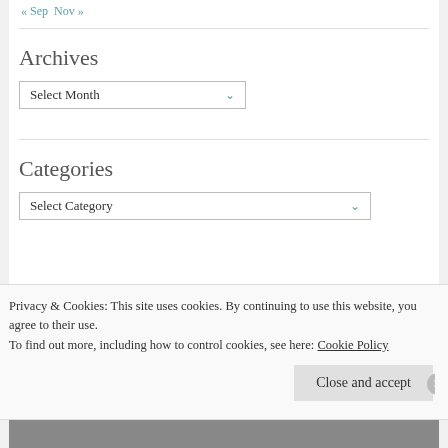« Sep   Nov »
Archives
Select Month
Categories
Select Category
Privacy & Cookies: This site uses cookies. By continuing to use this website, you agree to their use.
To find out more, including how to control cookies, see here: Cookie Policy
Close and accept